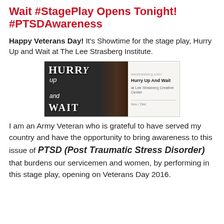Wait #StagePlay Opens Tonight! #PTSDAwareness
Happy Veterans Day! It's Showtime for the stage play, Hurry Up and Wait at The Lee Strasberg Institute.
[Figure (photo): Promotional image for the stage play 'Hurry Up And Wait' showing text overlay on a soldier's face saluting, with a listing panel on the right showing 'Hurry Up And Wait at Lee Strasberg Creative Center'.]
I am an Army Veteran who is grateful to have served my country and have the opportunity to bring awareness to this issue of PTSD (Post Traumatic Stress Disorder) that burdens our servicemen and women, by performing in this stage play, opening on Veterans Day 2016.